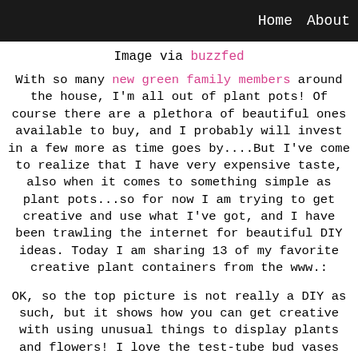Home   About
Image via buzzfed
With so many new green family members around the house, I'm all out of plant pots! Of course there are a plethora of beautiful ones available to buy, and I probably will invest in a few more as time goes by....But I've come to realize that I have very expensive taste, also when it comes to something simple as plant pots...so for now I am trying to get creative and use what I've got, and I have been trawling the internet for beautiful DIY ideas. Today I am sharing 13 of my favorite creative plant containers from the www.:
OK, so the top picture is not really a DIY as such, but it shows how you can get creative with using unusual things to display plants and flowers! I love the test-tube bud vases